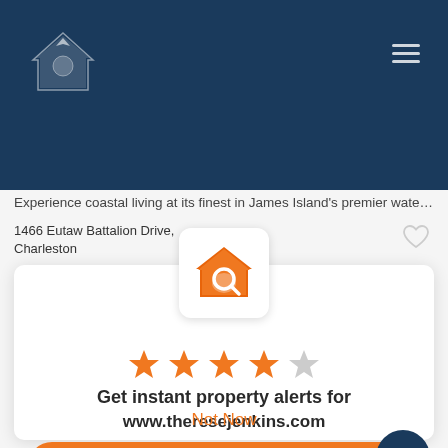[Figure (screenshot): Mobile app screenshot showing a real estate website with dark blue header, navigation bar with hamburger menu, property listing text, address, and a modal overlay with house search icon, 4-star rating, property alert call-to-action for www.theresejenkins.com, and Get the MoveTo App button]
Experience coastal living at its finest in James Island's premier waterfront com...
1466 Eutaw Battalion Drive, Charleston
Get instant property alerts for www.theresejenkins.com
Get the MoveTo App
Not Now